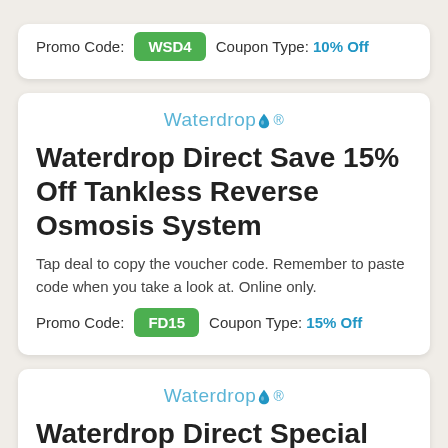Promo Code: WSD4   Coupon Type: 10% Off
[Figure (logo): Waterdrop brand logo with water drop icon]
Waterdrop Direct Save 15% Off Tankless Reverse Osmosis System
Tap deal to copy the voucher code. Remember to paste code when you take a look at. Online only.
Promo Code: FD15   Coupon Type: 15% Off
[Figure (logo): Waterdrop brand logo with water drop icon]
Waterdrop Direct Special Offer! 15% Off Countertop Reverse